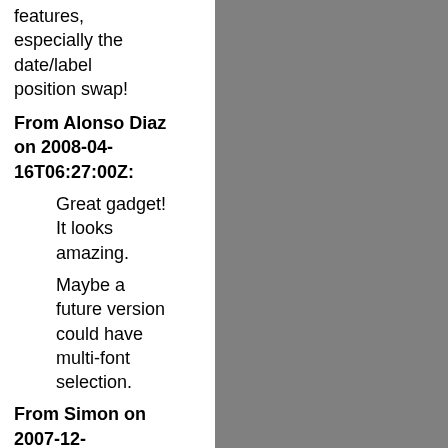features, especially the date/label position swap!
From Alonso Diaz on 2008-04-16T06:27:00Z:
Great gadget! It looks amazing.
Maybe a future version could have multi-font selection.
From Simon on 2007-12-31T10:35:00Z:
Brilliant. Just what I wanted.